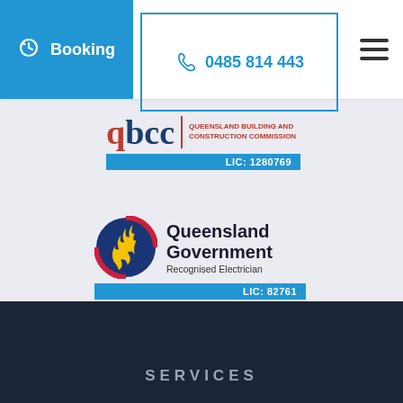[Figure (logo): Navigation bar with Booking button (blue), phone number 0485 814 443, and hamburger menu icon]
[Figure (logo): QBCC Queensland Building and Construction Commission logo badge with LIC: 1280769]
[Figure (logo): Queensland Government Recognised Electrician badge with LIC: 82761]
SERVICES